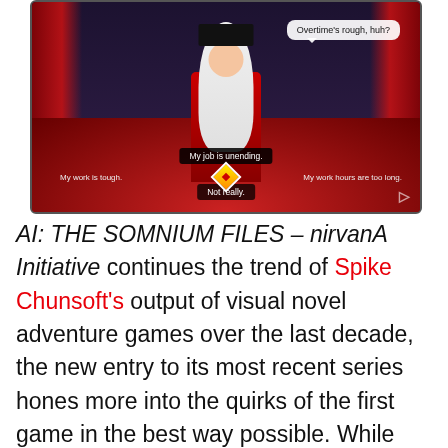[Figure (screenshot): Game screenshot from AI: The Somnium Files – nirvanA Initiative showing a anime-style character with white hair and red outfit in a library setting with red curtains and carpet. A speech bubble reads 'Overtime's rough, huh?' and dialogue choices shown: 'My job is unending.', 'My work is tough.', 'My work hours are too long.', 'Not really.']
AI: THE SOMNIUM FILES – nirvanA Initiative continues the trend of Spike Chunsoft's output of visual novel adventure games over the last decade, the new entry to its most recent series hones more into the quirks of the first game in the best way possible. While the sequel retreads the water of the original with familiar characters and a branching story